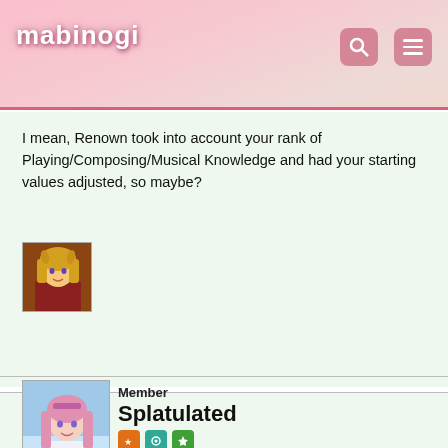mabinogi
I mean, Renown took into account your rank of Playing/Composing/Musical Knowledge and had your starting values adjusted, so maybe?
[Figure (illustration): User avatar: anime-style female character with golden hair and horns, wearing red/brown armor]
Member
Splatulated
Mabinogi Rep: 3,930
Posts: 693
MARCH 9, 2017
[Figure (illustration): User avatar: anime-style female character with long pink hair wearing white outfit, blue sky background]
i guess i can put $5 on the gach...